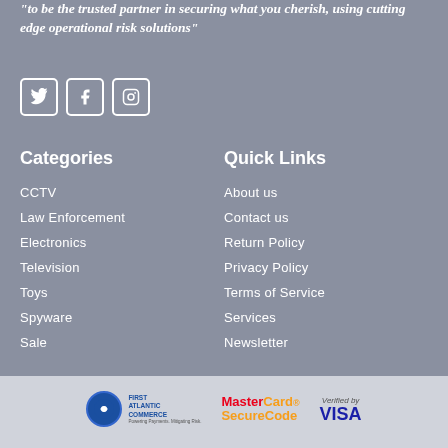"to be the trusted partner in securing what you cherish, using cutting edge operational risk solutions"
[Figure (other): Social media icons: Twitter, Facebook, Instagram in square bordered boxes]
Categories
Quick Links
CCTV
About us
Law Enforcement
Contact us
Electronics
Return Policy
Television
Privacy Policy
Toys
Terms of Service
Spyware
Services
Sale
Newsletter
[Figure (logo): Payment logos: First Atlantic Commerce, MasterCard SecureCode, Verified by VISA]